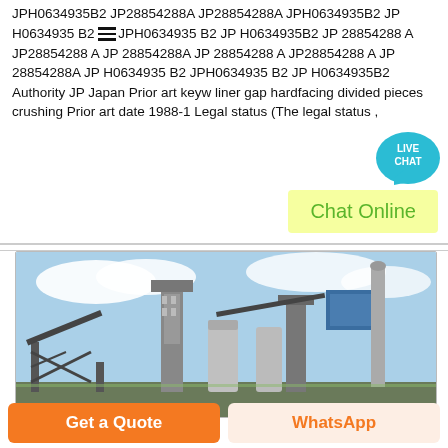JPH0634935B2 JP28854288A JP28854288A JPH0634935B2 JP H0634935 B2 JPH0634935 B2 JP H0634935B2 JP 28854288 A JP28854288 A JP 28854288A JP 28854288 A JP28854288 A JP 28854288A JP H0634935 B2 JPH0634935 B2 JP H0634935B2 Authority JP Japan Prior art keywords liner gap hardfacing divided pieces crushing Prior art date 1988-11- Legal status (The legal status ,
[Figure (other): Live Chat badge — teal speech bubble with 'LIVE CHAT' text in white]
Chat Online
[Figure (photo): Industrial plant with conveyor structures, silos, dust collector, and tall chimney stack under a partly cloudy sky]
Get a Quote
WhatsApp